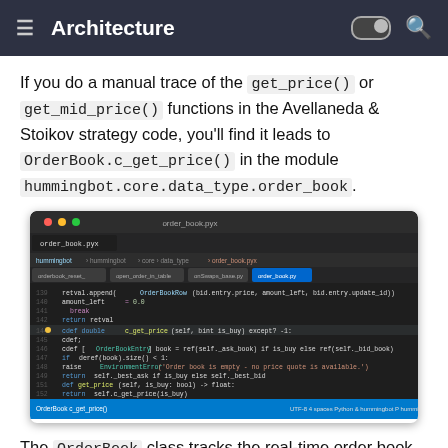Architecture
If you do a manual trace of the get_price() or get_mid_price() functions in the Avellaneda & Stoikov strategy code, you'll find it leads to OrderBook.c_get_price() in the module hummingbot.core.data_type.order_book .
[Figure (screenshot): Screenshot of a code editor (dark theme) showing Python source code for OrderBook class, including the c_get_price method and related functions in the hummingbot.core.data_type.order_book module.]
The OrderBook class tracks the real-time order book,